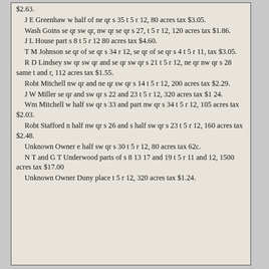$2.63.
J E Greenhaw w half of ne qr s 35 t 5 r 12, 80 acres tax $3.05.
Wash Goins se qr sw qr, nw qr se qr s 27, t 5 r 12, 120 acres tax $1.86.
J L House part s 8 t 5 r 12 80 acres tax $4.60.
T M Johnson se qr of se qr s 34 r 12, se qr of se qr s 4 t 5 r 11, tax $3.05.
R D Lindsey sw qr sw qr and se qr sw qr s 21 t 5 r 12, ne qr nw qr s 28 same t and r, 112 acres tax $1.55.
Robt Mitchell nw qr and ne qr sw qr s 14 t 5 r 12, 200 acres tax $2.29.
J W Miller se qr and sw qr s 22 and 23 t 5 r 12, 320 acres tax $1 24.
Wm Mitchell w half sw qr s 33 and part nw qr s 34 t 5 r 12, 105 acres tax $2.03.
Robt Stafford n half nw qr s 26 and s half sw qr s 23 t 5 r 12, 160 acres tax $2.48.
Unknown Owner e half sw qr s 30 t 5 r 12, 80 acres tax 62c.
N T and G T Underwood parts of s 8 13 17 and 19 t 5 r 11 and 12, 1500 acres tax $17.00
Unknown Owner Duny place t 5 r 12, 320 acres tax $1.24.
[continued...]